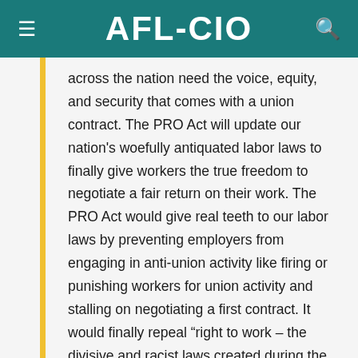AFL-CIO
across the nation need the voice, equity, and security that comes with a union contract. The PRO Act will update our nation's woefully antiquated labor laws to finally give workers the true freedom to negotiate a fair return on their work. The PRO Act would give real teeth to our labor laws by preventing employers from engaging in anti-union activity like firing or punishing workers for union activity and stalling on negotiating a first contract. It would finally repeal “right to work – the divisive and racist laws created during the Jim Crow era and passed in our neighboring states—that lead to lower wages, fewer benefits and more dangerous workplaces.